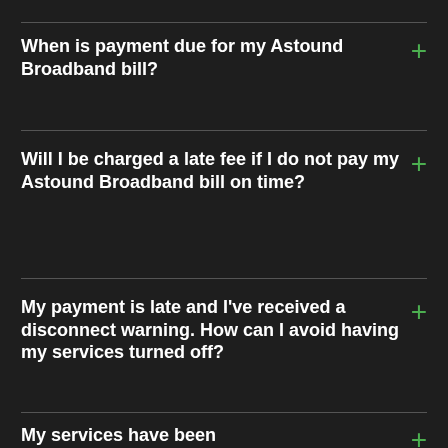When is payment due for my Astound Broadband bill?
Will I be charged a late fee if I do not pay my Astound Broadband bill on time?
My payment is late and I've received a disconnect warning. How can I avoid having my services turned off?
My services have been